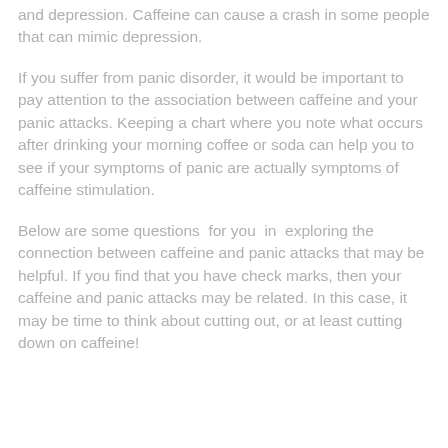and depression. Caffeine can cause a crash in some people that can mimic depression.
If you suffer from panic disorder, it would be important to pay attention to the association between caffeine and your panic attacks. Keeping a chart where you note what occurs after drinking your morning coffee or soda can help you to see if your symptoms of panic are actually symptoms of caffeine stimulation.
Below are some questions  for you  in  exploring the connection between caffeine and panic attacks that may be helpful. If you find that you have check marks, then your caffeine and panic attacks may be related. In this case, it may be time to think about cutting out, or at least cutting down on caffeine!